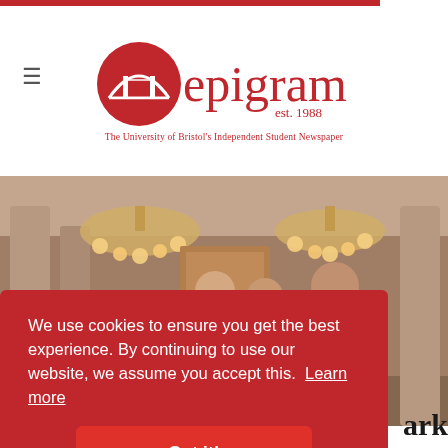[Figure (logo): Epigram logo with Clifton Suspension Bridge icon, text 'epigram est. 1988' in red, tagline 'The University of Bristol's Independent Student Newspaper']
[Figure (photo): A dimly lit elegant room with chandeliers and columns; three people (two men and a woman) standing together, partially visible]
We use cookies to ensure you get the best experience. By continuing to use our website, we assume you accept this. Learn more
Got it!
ark